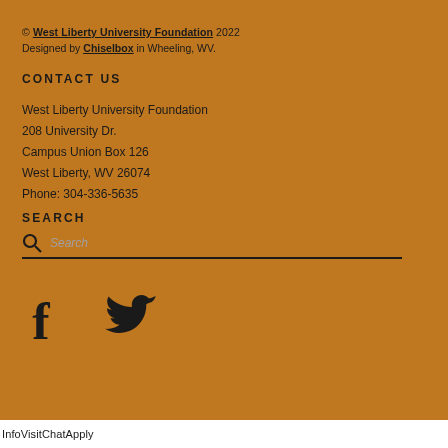© West Liberty University Foundation 2022
Designed by Chiselbox in Wheeling, WV.
CONTACT US
West Liberty University Foundation
208 University Dr.
Campus Union Box 126
West Liberty, WV 26074
Phone: 304-336-5635
SEARCH
[Figure (other): Search bar with magnifying glass icon and placeholder text 'Search']
[Figure (other): Social media icons: Facebook (f) and Twitter (bird icon)]
InfoVisitChatApply